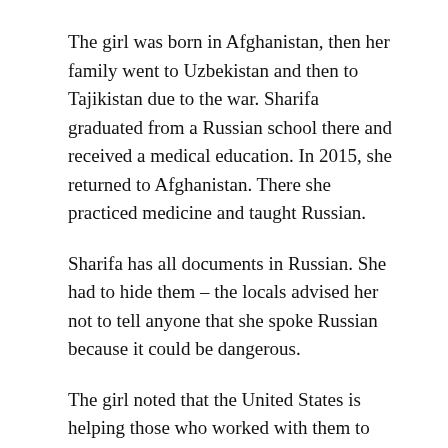The girl was born in Afghanistan, then her family went to Uzbekistan and then to Tajikistan due to the war. Sharifa graduated from a Russian school there and received a medical education. In 2015, she returned to Afghanistan. There she practiced medicine and taught Russian.
Sharifa has all documents in Russian. She had to hide them – the locals advised her not to tell anyone that she spoke Russian because it could be dangerous.
The girl noted that the United States is helping those who worked with them to leave Afghanistan. They even expelled her neighbor, who worked as a doorman at their embassy.
“And what about Russian speakers?” She asked.
Sharifa applied to the Russian embassy immediately